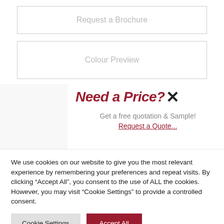Request a Brochure
Colour Preview
[Figure (other): Grey colour swatch panel with overlapping popup showing 'Need a Price? X' heading, 'Get a free quotation & Sample!' text, and a partially visible red button below]
We use cookies on our website to give you the most relevant experience by remembering your preferences and repeat visits. By clicking "Accept All", you consent to the use of ALL the cookies. However, you may visit "Cookie Settings" to provide a controlled consent.
Cookie Settings
Accept All